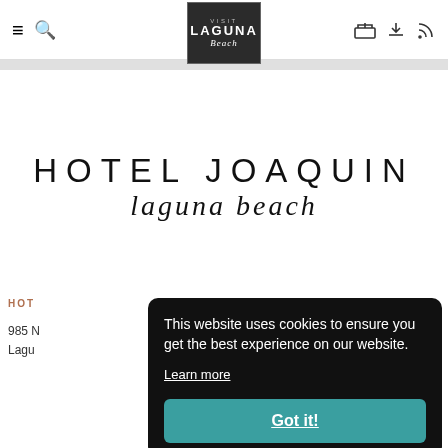Visit Laguna Beach navigation bar with hamburger menu, search, logo, hotel, download, and RSS icons
[Figure (logo): Visit Laguna Beach logo: dark box with VISIT LAGUNA Beach in white text]
HOTEL JOAQUIN laguna beach
HOT...
985 N...
Lagu...
This website uses cookies to ensure you get the best experience on our website.
Learn more
Got it!
DETAILS